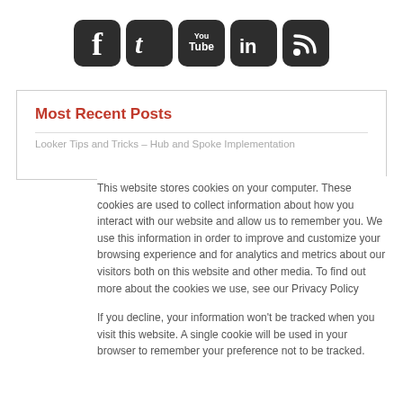[Figure (illustration): Five social media icons in dark rounded-square boxes: Facebook (f), Twitter (bird/t), YouTube (You Tube text), LinkedIn (in), RSS feed (wifi-wave symbol)]
Most Recent Posts
Looker Tips and Tricks – Hub and Spoke Implementation
This website stores cookies on your computer. These cookies are used to collect information about how you interact with our website and allow us to remember you. We use this information in order to improve and customize your browsing experience and for analytics and metrics about our visitors both on this website and other media. To find out more about the cookies we use, see our Privacy Policy
If you decline, your information won't be tracked when you visit this website. A single cookie will be used in your browser to remember your preference not to be tracked.